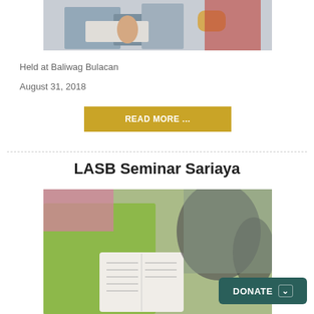[Figure (photo): People sitting at a table, one person writing in a notebook, another holding a drink; partial view of people from above]
Held at Baliwag Bulacan
August 31, 2018
READ MORE ...
LASB Seminar Sariaya
[Figure (photo): People seated, one wearing a lime green jacket, holding an open book (Bible), bags visible in background]